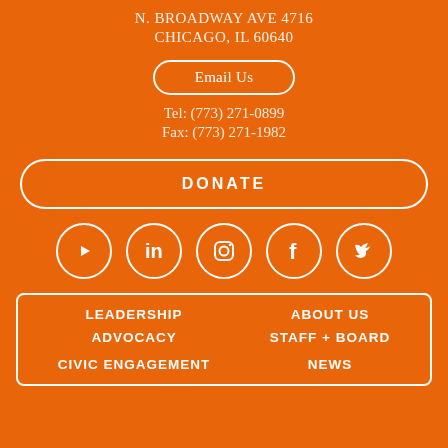N. BROADWAY AVE 4716
CHICAGO, IL 60640
Email Us
Tel: (773) 271-0899
Fax: (773) 271-1982
DONATE
[Figure (infographic): Social media icons in white circles on orange background: YouTube, LinkedIn, Instagram, Facebook, Twitter]
LEADERSHIP
ADVOCACY
CIVIC ENGAGEMENT
ABOUT US
STAFF + BOARD
NEWS